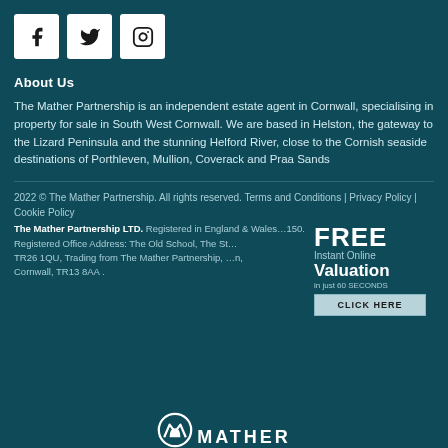[Figure (logo): Social media icons: Facebook (f), Twitter (bird), Instagram (camera outline) — white square boxes on teal background]
About Us
The Mather Partnership is an independent estate agent in Cornwall, specialising in property for sale in South West Cornwall. We are based in Helston, the gateway to the Lizard Peninsula and the stunning Helford River, close to the Cornish seaside destinations of Porthleven, Mullion, Coverack and Praa Sands
2022 © The Mather Partnership. All rights reserved. Terms and Conditions | Privacy Policy | Cookie Policy
The Mather Partnership LTD. Registered in England …150. Registered Office Address: The Old School, The St… TR26 1QU, Trading from The Mather Partnership, … n, Cornwall, TR13 8AA .
[Figure (infographic): FREE Instant Online Valuation in just 60 SECONDS — CLICK HERE button]
[Figure (logo): Mather Partnership logo at bottom — white M icon and MATHER text]